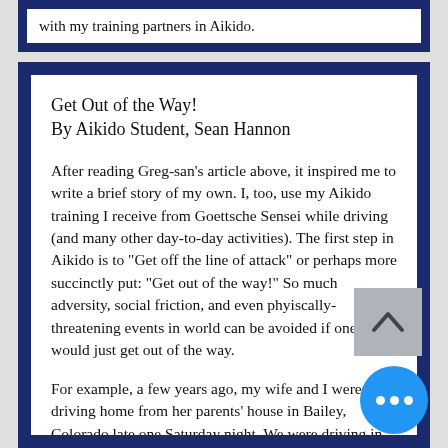with my training partners in Aikido.
Get Out of the Way!
By Aikido Student, Sean Hannon
After reading Greg-san's article above, it inspired me to write a brief story of my own.  I, too, use my Aikido training I receive from Goettsche Sensei while driving (and many other day-to-day activities).  The first step in Aikido is to "Get off the line of attack" or perhaps more succinctly put:  "Get out of the way!"  So much adversity, social friction, and even phyiscally-threatening events in world can be avoided if one would just get out of the way.
For example, a few years ago, my wife and I were driving home from her parents' house in Bailey, Colorado late one Saturday night.  We were driving in the left-hand lane going…